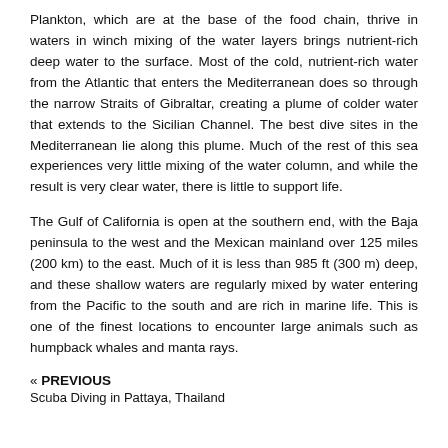Plankton, which are at the base of the food chain, thrive in waters in winch mixing of the water layers brings nutrient-rich deep water to the surface. Most of the cold, nutrient-rich water from the Atlantic that enters the Mediterranean does so through the narrow Straits of Gibraltar, creating a plume of colder water that extends to the Sicilian Channel. The best dive sites in the Mediterranean lie along this plume. Much of the rest of this sea experiences very little mixing of the water column, and while the result is very clear water, there is little to support life.
The Gulf of California is open at the southern end, with the Baja peninsula to the west and the Mexican mainland over 125 miles (200 km) to the east. Much of it is less than 985 ft (300 m) deep, and these shallow waters are regularly mixed by water entering from the Pacific to the south and are rich in marine life. This is one of the finest locations to encounter large animals such as humpback whales and manta rays.
« PREVIOUS
Scuba Diving in Pattaya, Thailand